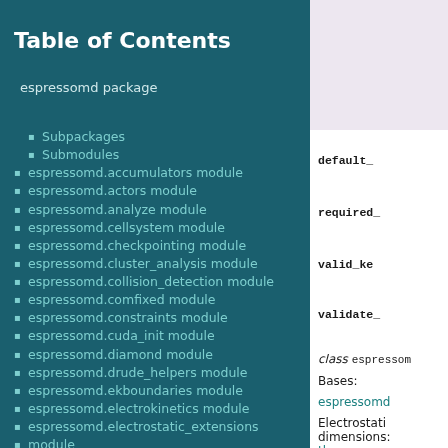Table of Contents
espressomd package
Subpackages
Submodules
espressomd.accumulators module
espressomd.actors module
espressomd.analyze module
espressomd.cellsystem module
espressomd.checkpointing module
espressomd.cluster_analysis module
espressomd.collision_detection module
espressomd.comfixed module
espressomd.constraints module
espressomd.cuda_init module
espressomd.diamond module
espressomd.drude_helpers module
espressomd.ekboundaries module
espressomd.electrokinetics module
espressomd.electrostatic_extensions module
espressomd.electrostatics module
espressomd.galilei module
espressomd.globals module
espressomd.highlander module
espressomd.integrate module
default_
required_
valid_key_
validate_
class espressom
Bases:
espressomd
Electrostati dimensions: theory